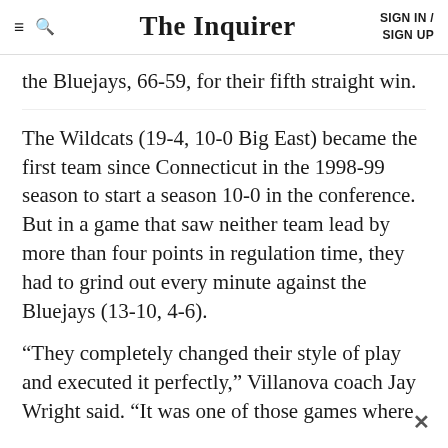The Inquirer | SIGN IN / SIGN UP
the Bluejays, 66-59, for their fifth straight win.
The Wildcats (19-4, 10-0 Big East) became the first team since Connecticut in the 1998-99 season to start a season 10-0 in the conference. But in a game that saw neither team lead by more than four points in regulation time, they had to grind out every minute against the Bluejays (13-10, 4-6).
“They completely changed their style of play and executed it perfectly,” Villanova coach Jay Wright said. “It was one of those games where